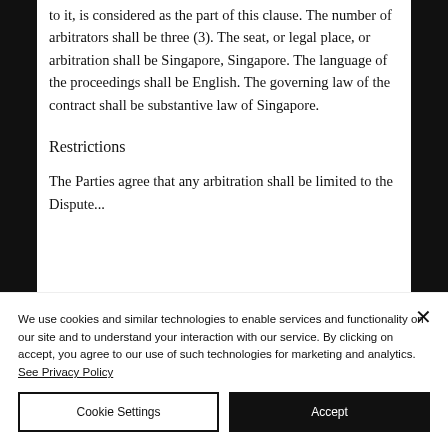to it, is considered as the part of this clause. The number of arbitrators shall be three (3). The seat, or legal place, or arbitration shall be Singapore, Singapore. The language of the proceedings shall be English. The governing law of the contract shall be substantive law of Singapore.
Restrictions
The Parties agree that any arbitration shall be limited to the Dispute...
We use cookies and similar technologies to enable services and functionality on our site and to understand your interaction with our service. By clicking on accept, you agree to our use of such technologies for marketing and analytics. See Privacy Policy